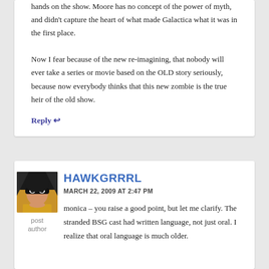hands on the show. Moore has no concept of the power of myth, and didn't capture the heart of what made Galactica what it was in the first place.

Now I fear because of the new re-imagining, that nobody will ever take a series or movie based on the OLD story seriously, because now everybody thinks that this new zombie is the true heir of the old show.
Reply ↩
[Figure (illustration): Avatar image of Hawkgirl cartoon character in yellow costume with black mask]
post author
HAWKGRRRL
MARCH 22, 2009 AT 2:47 PM
monica – you raise a good point, but let me clarify. The stranded BSG cast had written language, not just oral. I realize that oral language is much older.